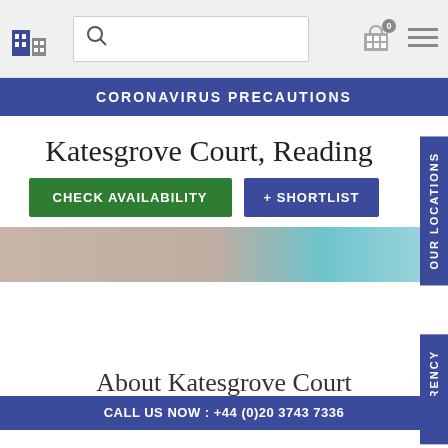Navigation bar with logo, search box, building icon with badge 0, and menu icon
CORONAVIRUS PRECAUTIONS
Katesgrove Court, Reading
CHECK AVAILABILITY  + SHORTLIST
[Figure (photo): Partial interior photo showing beige and teal/blue tones]
About Katesgrove Court
CALL US NOW : +44 (0)20 3743 7336